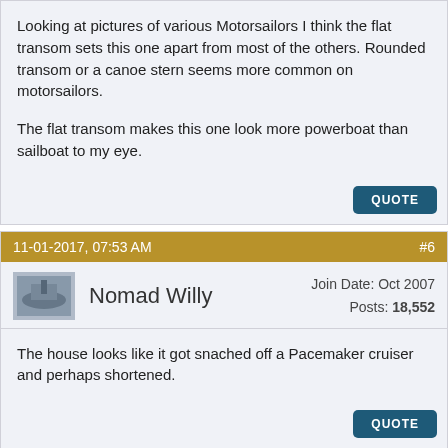Looking at pictures of various Motorsailors I think the flat transom sets this one apart from most of the others. Rounded transom or a canoe stern seems more common on motorsailors.

The flat transom makes this one look more powerboat than sailboat to my eye.
11-01-2017, 07:53 AM
#6
Nomad Willy
Join Date: Oct 2007
Posts: 18,552
The house looks like it got snached off a Pacemaker cruiser and perhaps shortened.